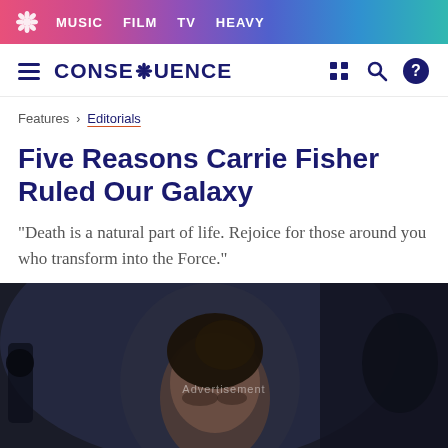MUSIC  FILM  TV  HEAVY
CONSEQUENCE
Features > Editorials
Five Reasons Carrie Fisher Ruled Our Galaxy
"Death is a natural part of life. Rejoice for those around you who transform into the Force."
[Figure (photo): Dark cinematic still showing a woman with brown hair in an updo, partially lit, with blurred background figures and equipment. Text overlay reads 'Advertisement'.]